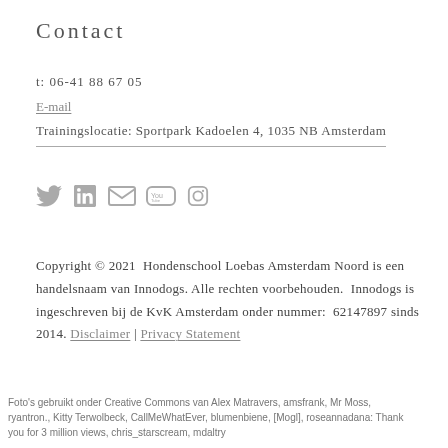Contact
t: 06-41 88 67 05
E-mail
Trainingslocatie: Sportpark Kadoelen 4, 1035 NB Amsterdam
[Figure (illustration): Social media icons: Twitter bird, LinkedIn 'in', envelope/email, YouTube, Instagram camera]
Copyright © 2021  Hondenschool Loebas Amsterdam Noord is een handelsnaam van Innodogs. Alle rechten voorbehouden.  Innodogs is ingeschreven bij de KvK Amsterdam onder nummer:  62147897 sinds 2014. Disclaimer | Privacy Statement
Foto's gebruikt onder Creative Commons van Alex Matravers, amsfrank, Mr Moss, ryantron., Kitty Terwolbeck, CallMeWhatEver, blumenbiene, [Mogl], roseannadana: Thank you for 3 million views, chris_starscream, mdaltry